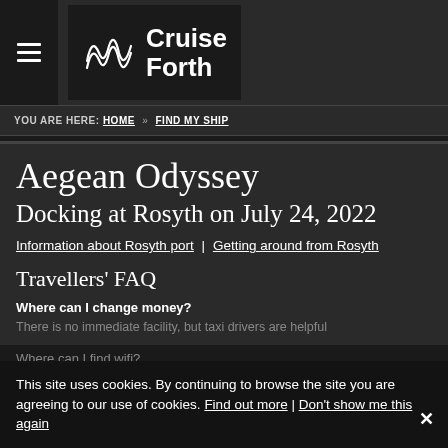Cruise Forth
YOU ARE HERE: HOME » FIND MY SHIP
Aegean Odyssey
Docking at Rosyth on July 24, 2022
Information about Rosyth port | Getting around from Rosyth
Travellers' FAQ
Where can I change money?
There is no immediate facility, but taxi drivers are helpful
Where can I find wifi?
This site uses cookies. By continuing to browse the site you are agreeing to our use of cookies. Find out more | Don't show me this again